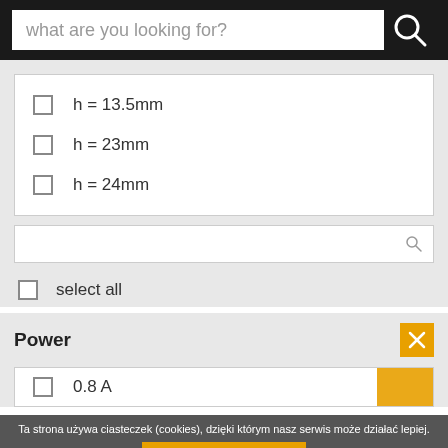[Figure (screenshot): Search bar with placeholder text 'what are you looking for?' and magnifying glass icon on dark background]
h = 13.5mm
h = 23mm
h = 24mm
select all
Power
0.8 A
Ta strona używa ciasteczek (cookies), dzięki którym nasz serwis może działać lepiej.
Rozumiem